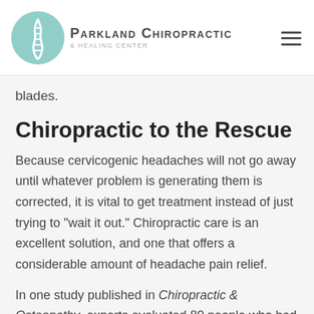Parkland Chiropractic & Healing Center
blades.
Chiropractic to the Rescue
Because cervicogenic headaches will not go away until whatever problem is generating them is corrected, it is vital to get treatment instead of just trying to "wait it out." Chiropractic care is an excellent solution, and one that offers a considerable amount of headache pain relief.
In one study published in Chiropractic & Osteopathy, experts evaluated 80 people who had repeated cervicogenic headaches. Fifty percent